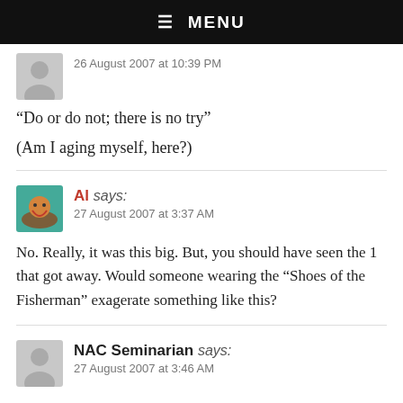☰ MENU
26 August 2007 at 10:39 PM
“Do or do not; there is no try”
(Am I aging myself, here?)
Al says:
27 August 2007 at 3:37 AM
No. Really, it was this big. But, you should have seen the 1 that got away. Would someone wearing the “Shoes of the Fisherman” exagerate something like this?
NAC Seminarian says:
27 August 2007 at 3:46 AM